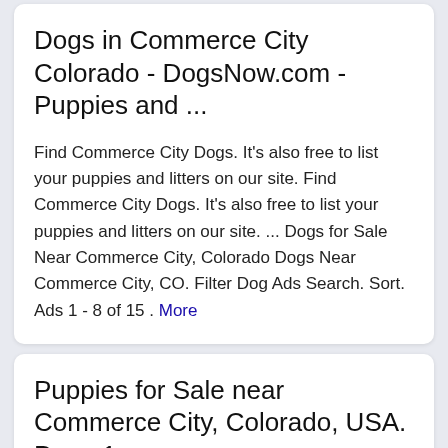Dogs in Commerce City Colorado - DogsNow.com - Puppies and ...
Find Commerce City Dogs. It's also free to list your puppies and litters on our site. Find Commerce City Dogs. It's also free to list your puppies and litters on our site. ... Dogs for Sale Near Commerce City, Colorado Dogs Near Commerce City, CO. Filter Dog Ads Search. Sort. Ads 1 - 8 of 15 . More
Puppies for Sale near Commerce City, Colorado, USA. Page 1